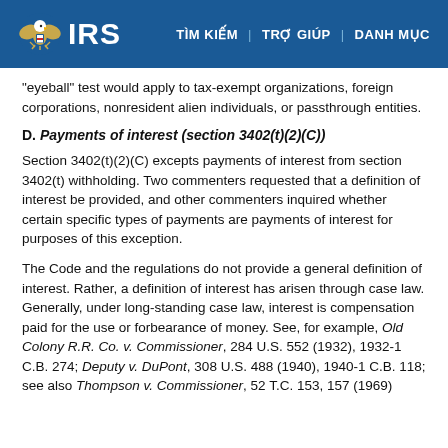IRS  TÌM KIẾM | TRỢ GIÚP | DANH MỤC
“eyeball” test would apply to tax-exempt organizations, foreign corporations, nonresident alien individuals, or passthrough entities.
D. Payments of interest (section 3402(t)(2)(C))
Section 3402(t)(2)(C) excepts payments of interest from section 3402(t) withholding. Two commenters requested that a definition of interest be provided, and other commenters inquired whether certain specific types of payments are payments of interest for purposes of this exception.
The Code and the regulations do not provide a general definition of interest. Rather, a definition of interest has arisen through case law. Generally, under long-standing case law, interest is compensation paid for the use or forbearance of money. See, for example, Old Colony R.R. Co. v. Commissioner, 284 U.S. 552 (1932), 1932-1 C.B. 274; Deputy v. DuPont, 308 U.S. 488 (1940), 1940-1 C.B. 118; see also Thompson v. Commissioner, 52 T.C. 153, 157 (1969)